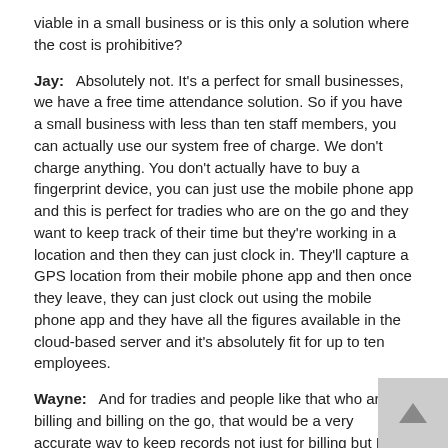viable in a small business or is this only a solution where the cost is prohibitive?
Jay:   Absolutely not. It's a perfect for small businesses, we have a free time attendance solution. So if you have a small business with less than ten staff members, you can actually use our system free of charge. We don't charge anything. You don't actually have to buy a fingerprint device, you can just use the mobile phone app and this is perfect for tradies who are on the go and they want to keep track of their time but they're working in a location and then they can just clock in. They'll capture a GPS location from their mobile phone app and then once they leave, they can just clock out using the mobile phone app and they have all the figures available in the cloud-based server and it's absolutely fit for up to ten employees.
Wayne:   And for tradies and people like that who are billing and billing on the go, that would be a very accurate way to keep records not just for billing but I guess for tax purposes as well.
Jay:   Absolutely. You can keep track at travels this way as well and it's just a perfect all-rounder.